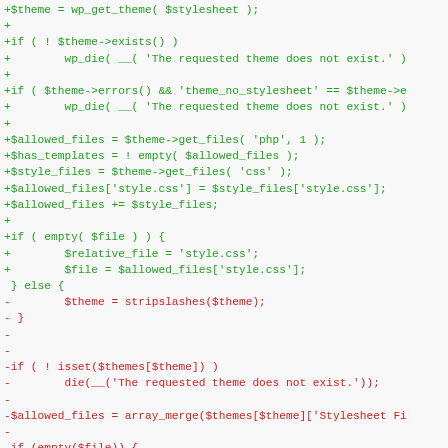[Figure (screenshot): A code diff screenshot showing PHP code changes. Green lines (prefixed with +) show added code, red lines (prefixed with -) show removed code. The code relates to WordPress theme file handling, checking if themes exist, getting allowed files, and handling file paths.]